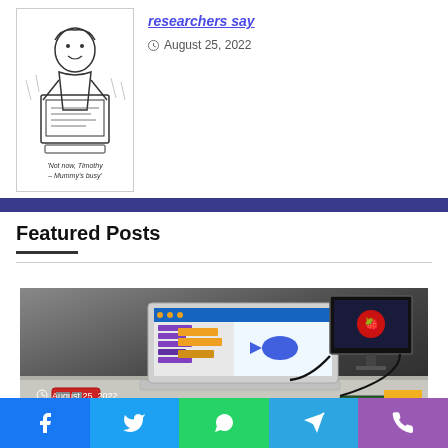[Figure (illustration): Cartoon illustration of a person at a computer with caption 'Not now, Timothy – Mummy's busy']
researchers say
August 25, 2022
Featured Posts
[Figure (photo): Photo of a laptop showing Scratch programming environment with Raspberry Pi setup including external monitor, LCD module, and Raspberry Pi board]
August 25, 2022
Meet the CrowPi-L – a clever Raspberry Pi laptop and learning...